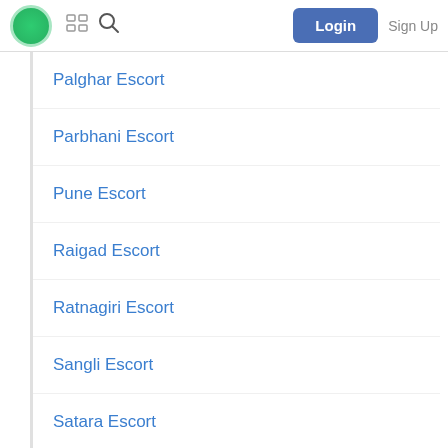Login  Sign Up
Palghar Escort
Parbhani Escort
Pune Escort
Raigad Escort
Ratnagiri Escort
Sangli Escort
Satara Escort